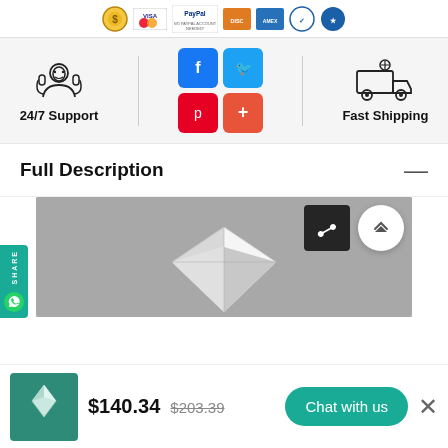[Figure (infographic): Payment methods icons bar: gold coin, credit card logos (Visa, Mastercard, Discover, Amex), PayPal logo with 'NO PAYPAL ACCOUNT NEEDED!' text, security badge]
[Figure (infographic): Features bar with 24/7 Support icon (customer service rep), social share buttons (Facebook, Twitter, Pinterest, Google+), and Fast Shipping icon (delivery truck)]
Full Description
[Figure (photo): Close-up photo of a sparkling diamond gemstone against a gray background, with a share icon button and scroll-to-top button overlaid]
$140.34  $203.39
Chat with us